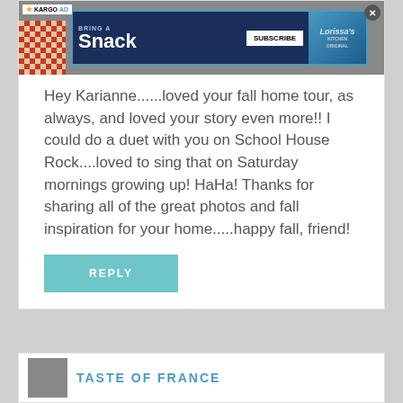[Figure (screenshot): Ad banner at top of comment card: KARGO AD label, 'Bring a Snack / SUBSCRIBE' advertisement for Lorissa's Kitchen, close button]
Hey Karianne......loved your fall home tour, as always, and loved your story even more!! I could do a duet with you on School House Rock....loved to sing that on Saturday mornings growing up! HaHa! Thanks for sharing all of the great photos and fall inspiration for your home.....happy fall, friend!
REPLY
TASTE OF FRANCE